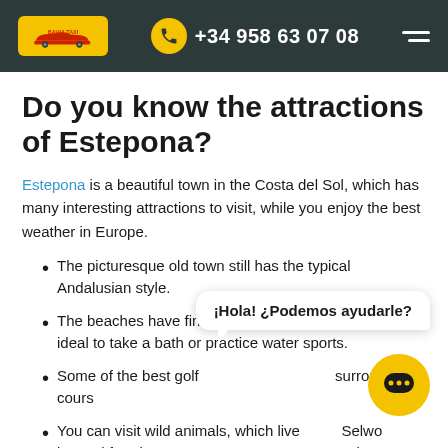BAHIA TAXI | +34 958 63 07 08
Do you know the attractions of Estepona?
Estepona is a beautiful town in the Costa del Sol, which has many interesting attractions to visit, while you enjoy the best weather in Europe.
The picturesque old town still has the typical Andalusian style.
The beaches have fine sand and quiet water, which are ideal to take a bath or practice water sports.
Some of the best golf cours surroundings.
You can visit wild animals, which live in semi freedom Selwo Adventure.
The Orchid Park has many species of plants.